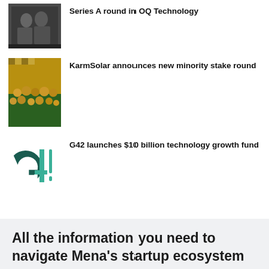Series A round in OQ Technology
[Figure (photo): Group photo of people associated with OQ Technology]
KarmSolar announces new minority stake round
[Figure (photo): Group photo of KarmSolar team members outdoors]
G42 launches $10 billion technology growth fund
[Figure (logo): G42 company logo in teal/dark green]
All the information you need to navigate Mena's startup ecosystem
Sign up to receive our weekly digest of stories, op-